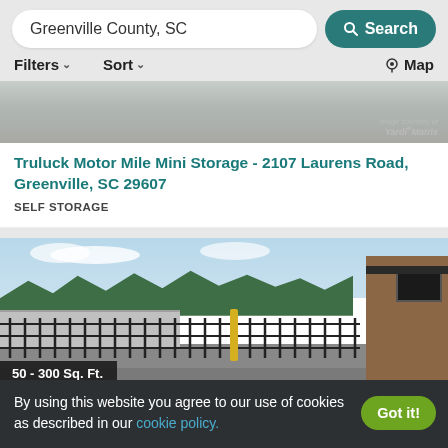Greenville County, SC | Search
Filters ∨  Sort ∨  Map
[Figure (photo): Aerial or street-level photo of a mini storage facility with Yardi Matrix watermark]
Truluck Motor Mile Mini Storage - 2107 Laurens Road, Greenville, SC 29607
SELF STORAGE
[Figure (photo): Photo of a self-storage facility entrance with black iron fence, gate, parking lot, and brick building on the right]
50 - 300 Sq. Ft.
By using this website you agree to our use of cookies as described in our cookie policy.
Got it!